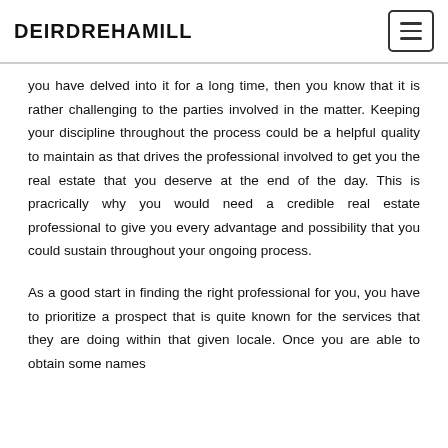DEIRDREHAMILL
you have delved into it for a long time, then you know that it is rather challenging to the parties involved in the matter. Keeping your discipline throughout the process could be a helpful quality to maintain as that drives the professional involved to get you the real estate that you deserve at the end of the day. This is pracrically why you would need a credible real estate professional to give you every advantage and possibility that you could sustain throughout your ongoing process.
As a good start in finding the right professional for you, you have to prioritize a prospect that is quite known for the services that they are doing within that given locale. Once you are able to obtain some names